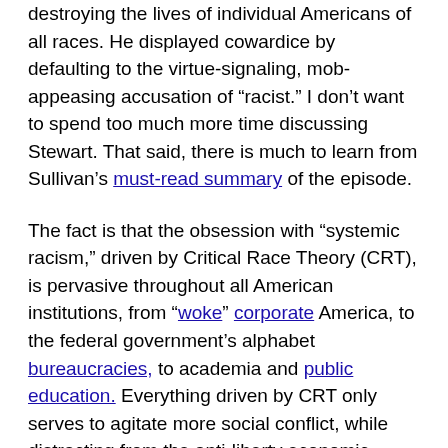destroying the lives of individual Americans of all races. He displayed cowardice by defaulting to the virtue-signaling, mob-appeasing accusation of “racist.” I don’t want to spend too much more time discussing Stewart. That said, there is much to learn from Sullivan’s must-read summary of the episode.
The fact is that the obsession with “systemic racism,” driven by Critical Race Theory (CRT), is pervasive throughout all American institutions, from “woke” corporate America, to the federal government’s alphabet bureaucracies, to academia and public education. Everything driven by CRT only serves to agitate more social conflict, while distracting from the anti-liberty economic policies which demonstrably harm individuals of all races. This problem is arguably most evident at the intersection of CRT and America’s public (government) education system.
This brings us to a meeting I had last summer with the superintendent of my local school district on the Space